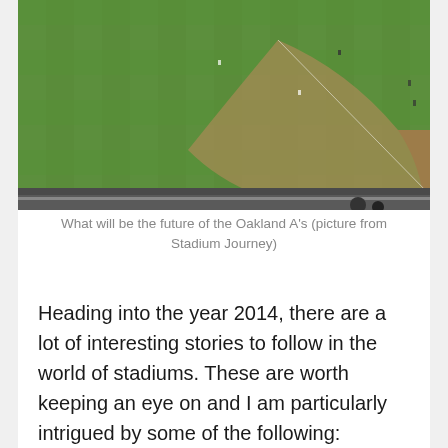[Figure (photo): Aerial view of a baseball stadium field taken from the upper deck, showing the green grass, diamond infield, warning track, and stadium seating below. The image is cropped showing just the field portion.]
What will be the future of the Oakland A's (picture from Stadium Journey)
Heading into the year 2014, there are a lot of interesting stories to follow in the world of stadiums. These are worth keeping an eye on and I am particularly intrigued by some of the following: